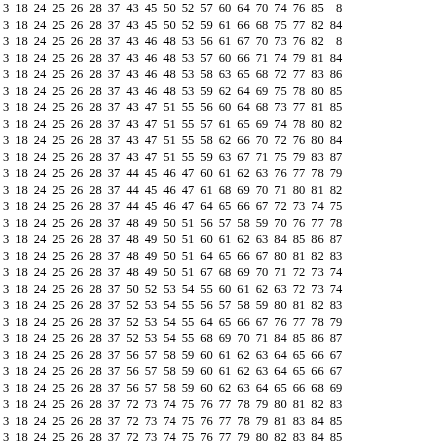| 3 | 18 | 24 | 25 | 26 | 28 | 37 | 43 | 45 | 50 | 52 | 57 | 60 | 64 | 70 | 74 | 76 | 85 | 8 |
| 3 | 18 | 24 | 25 | 26 | 28 | 37 | 43 | 45 | 50 | 52 | 59 | 61 | 66 | 68 | 75 | 77 | 82 | 84 |
| 3 | 18 | 24 | 25 | 26 | 28 | 37 | 43 | 46 | 48 | 53 | 56 | 61 | 67 | 70 | 73 | 76 | 82 | 8 |
| 3 | 18 | 24 | 25 | 26 | 28 | 37 | 43 | 46 | 48 | 53 | 57 | 60 | 66 | 71 | 74 | 79 | 81 | 84 |
| 3 | 18 | 24 | 25 | 26 | 28 | 37 | 43 | 46 | 48 | 53 | 58 | 63 | 65 | 68 | 72 | 77 | 83 | 86 |
| 3 | 18 | 24 | 25 | 26 | 28 | 37 | 43 | 46 | 48 | 53 | 59 | 62 | 64 | 69 | 75 | 78 | 80 | 85 |
| 3 | 18 | 24 | 25 | 26 | 28 | 37 | 43 | 47 | 51 | 55 | 56 | 60 | 64 | 68 | 73 | 77 | 81 | 85 |
| 3 | 18 | 24 | 25 | 26 | 28 | 37 | 43 | 47 | 51 | 55 | 57 | 61 | 65 | 69 | 74 | 78 | 80 | 82 |
| 3 | 18 | 24 | 25 | 26 | 28 | 37 | 43 | 47 | 51 | 55 | 58 | 62 | 66 | 70 | 72 | 76 | 80 | 84 |
| 3 | 18 | 24 | 25 | 26 | 28 | 37 | 43 | 47 | 51 | 55 | 59 | 63 | 67 | 71 | 75 | 79 | 83 | 87 |
| 3 | 18 | 24 | 25 | 26 | 28 | 37 | 44 | 45 | 46 | 47 | 60 | 61 | 62 | 63 | 76 | 77 | 78 | 79 |
| 3 | 18 | 24 | 25 | 26 | 28 | 37 | 44 | 45 | 46 | 47 | 61 | 68 | 69 | 70 | 71 | 80 | 81 | 82 |
| 3 | 18 | 24 | 25 | 26 | 28 | 37 | 44 | 45 | 46 | 47 | 64 | 65 | 66 | 67 | 72 | 73 | 74 | 75 |
| 3 | 18 | 24 | 25 | 26 | 28 | 37 | 48 | 49 | 50 | 51 | 56 | 57 | 58 | 59 | 70 | 76 | 77 | 78 |
| 3 | 18 | 24 | 25 | 26 | 28 | 37 | 48 | 49 | 50 | 51 | 60 | 61 | 62 | 63 | 84 | 85 | 86 | 87 |
| 3 | 18 | 24 | 25 | 26 | 28 | 37 | 48 | 49 | 50 | 51 | 64 | 65 | 66 | 67 | 80 | 81 | 82 | 83 |
| 3 | 18 | 24 | 25 | 26 | 28 | 37 | 48 | 49 | 50 | 51 | 67 | 68 | 69 | 70 | 71 | 72 | 73 | 74 |
| 3 | 18 | 24 | 25 | 26 | 28 | 37 | 50 | 52 | 53 | 54 | 55 | 60 | 61 | 62 | 63 | 72 | 73 | 74 |
| 3 | 18 | 24 | 25 | 26 | 28 | 37 | 52 | 53 | 54 | 55 | 56 | 57 | 58 | 59 | 80 | 81 | 82 | 83 |
| 3 | 18 | 24 | 25 | 26 | 28 | 37 | 52 | 53 | 54 | 55 | 64 | 65 | 66 | 67 | 76 | 77 | 78 | 79 |
| 3 | 18 | 24 | 25 | 26 | 28 | 37 | 52 | 53 | 54 | 55 | 68 | 69 | 70 | 71 | 84 | 85 | 86 | 87 |
| 3 | 18 | 24 | 25 | 26 | 28 | 37 | 56 | 57 | 58 | 59 | 60 | 61 | 62 | 63 | 64 | 65 | 66 | 67 |
| 3 | 18 | 24 | 25 | 26 | 28 | 37 | 56 | 57 | 58 | 59 | 60 | 61 | 62 | 63 | 64 | 65 | 66 | 67 |
| 3 | 18 | 24 | 25 | 26 | 28 | 37 | 56 | 57 | 58 | 59 | 60 | 62 | 63 | 64 | 65 | 66 | 68 | 69 |
| 3 | 18 | 24 | 25 | 26 | 28 | 37 | 72 | 73 | 74 | 75 | 76 | 77 | 78 | 79 | 80 | 81 | 82 | 83 |
| 3 | 18 | 24 | 25 | 26 | 28 | 37 | 72 | 73 | 74 | 75 | 76 | 77 | 78 | 79 | 81 | 83 | 84 | 85 |
| 3 | 18 | 24 | 25 | 26 | 28 | 37 | 72 | 73 | 74 | 75 | 76 | 77 | 79 | 80 | 82 | 83 | 84 | 85 |
| 4 | 5 | 6 | 7 | 8 | 9 | 16 | 17 | 18 | 22 | 23 | 24 | 34 | 40 | 41 | 42 | 50 | 69 | 73 |
| 4 | 5 | 6 | 7 | 8 | 9 | 16 | 17 | 18 | 22 | 23 | 24 | 34 | 40 | 41 | 42 | 51 | 70 | 74 |
| 4 | 5 | 6 | 7 | 8 | 9 | 16 | 17 | 18 | 22 | 23 | 24 | 34 | 40 | 41 | 42 | 52 | 71 | 7 |